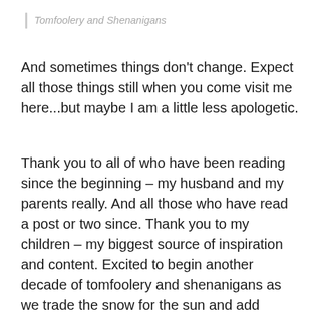Tomfoolery and Shenanigans
And sometimes things don't change. Expect all those things still when you come visit me here...but maybe I am a little less apologetic.
Thank you to all of who have been reading since the beginning – my husband and my parents really. And all those who have read a post or two since. Thank you to my children – my biggest source of inspiration and content. Excited to begin another decade of tomfoolery and shenanigans as we trade the snow for the sun and add random Spanish words along the way.